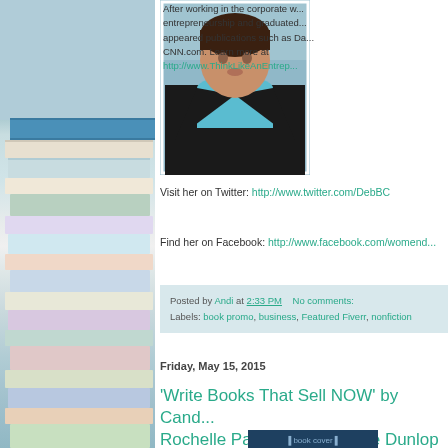[Figure (photo): Headshot photo of a woman in a dark jacket with a blue collar, seated outdoors]
After working in the corporate w... entrepreneurship and graduated... appeared publications such as Da... CNN.com. Learn more at http://www.ThinkLikeAnEntrep...
Visit her on Twitter: http://www.twitter.com/DebBC
Find her on Facebook: http://www.facebook.com/womend...
Posted by Andi at 2:33 PM    No comments:
Labels: book promo, business, Featured Fiverr, nonfiction
Friday, May 15, 2015
'Write Books That Sell NOW' by Cand... Rochelle Paul, & Carol Joyce Dunlop ...